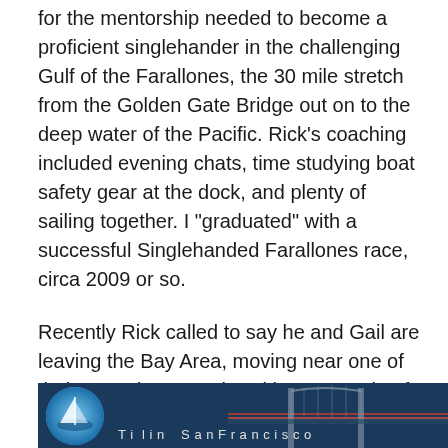for the mentorship needed to become a proficient singlehander in the challenging Gulf of the Farallones, the 30 mile stretch from the Golden Gate Bridge out on to the deep water of the Pacific. Rick’s coaching included evening chats, time studying boat safety gear at the dock, and plenty of sailing together. I “graduated” with a successful Singlehanded Farallones race, circa 2009 or so.
Recently Rick called to say he and Gail are leaving the Bay Area, moving near one of their sons down south. With Ravenswing far away, I asked skipper Rick Waltonsmith if he'd take us out for one more sail in RickH's beloved stomping grounds. On September 11, we had a successful outing:
[Figure (photo): Partial view of a photo showing a circular icon on the left (blue tones, possibly a sailing/boat image) and what appears to be a bridge structure (Golden Gate Bridge) silhouetted on the right, with partial caption text visible at bottom.]